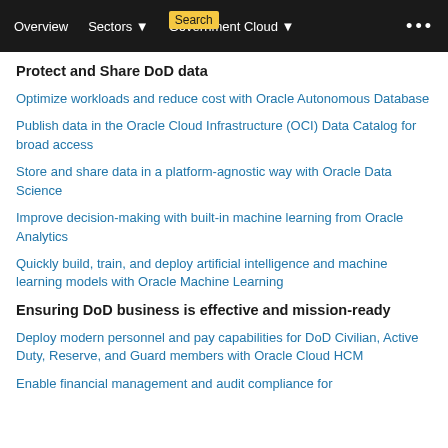Overview   Sectors   Government Cloud   ...
Protect and Share DoD data
Optimize workloads and reduce cost with Oracle Autonomous Database
Publish data in the Oracle Cloud Infrastructure (OCI) Data Catalog for broad access
Store and share data in a platform-agnostic way with Oracle Data Science
Improve decision-making with built-in machine learning from Oracle Analytics
Quickly build, train, and deploy artificial intelligence and machine learning models with Oracle Machine Learning
Ensuring DoD business is effective and mission-ready
Deploy modern personnel and pay capabilities for DoD Civilian, Active Duty, Reserve, and Guard members with Oracle Cloud HCM
Enable financial management and audit compliance for